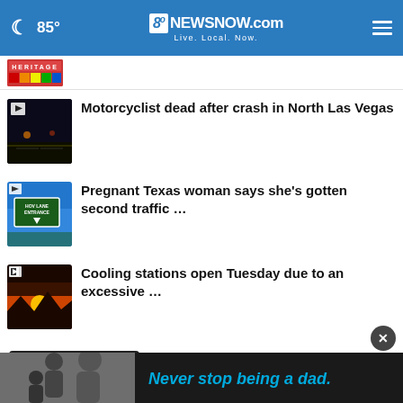85° 8NewsNow.com Live. Local. Now.
[Figure (photo): Partial cropped news story thumbnail with colorful HERITAGE sign graphic]
Motorcyclist dead after crash in North Las Vegas
Pregnant Texas woman says she's gotten second traffic …
Cooling stations open Tuesday due to an excessive …
More Stories ›
[Figure (photo): Advertisement banner: black and white photo of adult and child with text 'Never stop being a dad.' in blue on dark background]